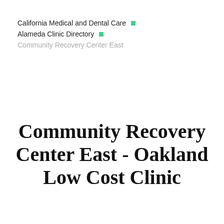California Medical and Dental Care
Alameda Clinic Directory
Community Recovery Center East
Community Recovery Center East - Oakland Low Cost Clinic